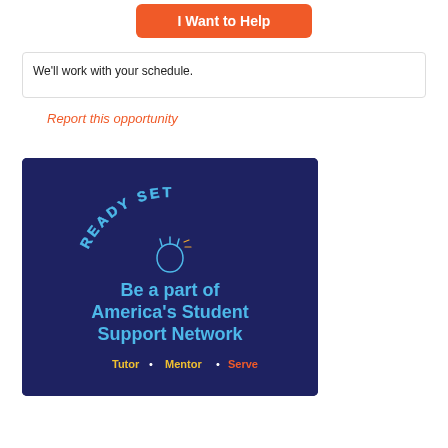I Want to Help
We'll work with your schedule.
Report this opportunity
[Figure (illustration): Dark navy blue promotional banner for America's Student Support Network (Ready Set). Features text 'READY SET' in an arc at top with a hand/clapping icon, large bold text 'Be a part of America's Student Support Network', and subtext 'Tutor • Mentor • Serve' in yellow and orange.]